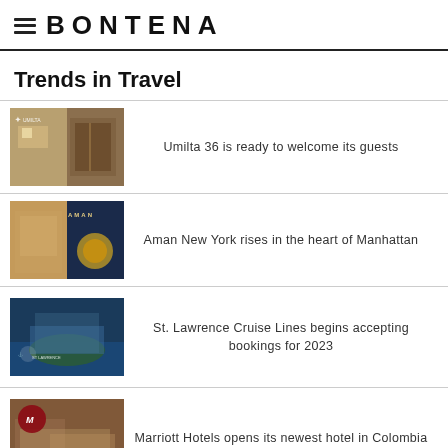≡ BONTENA
Trends in Travel
Umilta 36 is ready to welcome its guests
Aman New York rises in the heart of Manhattan
St. Lawrence Cruise Lines begins accepting bookings for 2023
Marriott Hotels opens its newest hotel in Colombia